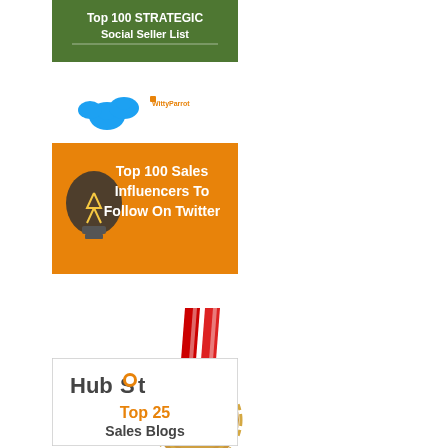[Figure (illustration): Top 100 Strategic Social Seller List badge/banner with green background and text]
[Figure (illustration): Top 100 Sales Influencers To Follow On Twitter banner - orange background with lightbulb and Twitter birds, WittyParrot logo]
[Figure (illustration): Gold award medal with red ribbon: Awarded Top 100 Sales Blog]
[Figure (illustration): HubSpot Top 25 Sales Blogs badge - white background with HubSpot logo and orange/dark text]